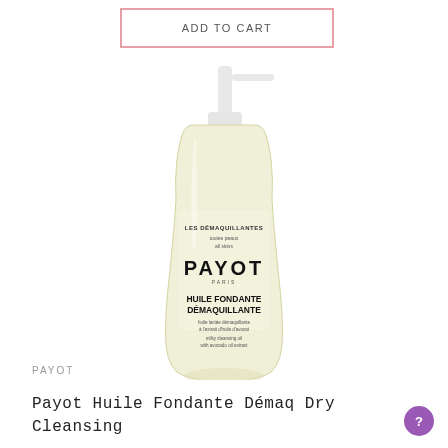ADD TO CART
[Figure (photo): Payot Huile Fondante Démaquillante cleansing oil bottle with pump dispenser. Bottle contains pale yellow oil, white pump cap, label reads: LES DÉMAQUILLANTES, toutes peaux / all skins, PAYOT PARIS, HUILE FONDANTE DÉMAQUILLANTE, huile lactée démaquillante à l'extrait d'huile d'avocat, milky cleansing oil with avocado oil extract.]
PAYOT
Payot Huile Fondante Démaq Dry Cleansing